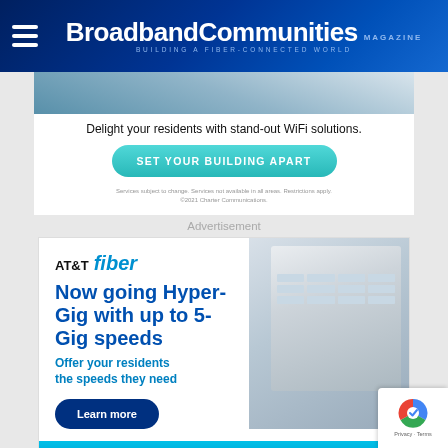BroadbandCommunities MAGAZINE BUILDING A FIBER-CONNECTED WORLD
[Figure (photo): Partial view of a laptop on a table, top portion of a Spectrum Business WiFi advertisement]
Delight your residents with stand-out WiFi solutions.
SET YOUR BUILDING APART
Services subject to change. Services not available in all areas. Restrictions apply. ©2021 Charter Communications.
Advertisement
[Figure (photo): AT&T fiber advertisement featuring headline 'Now going Hyper-Gig with up to 5-Gig speeds', subheading 'Offer your residents the speeds they need', Learn more button, and photo of a modern apartment building]
AT&T fiber — Now going Hyper-Gig with up to 5-Gig speeds. Offer your residents the speeds they need. Learn more.